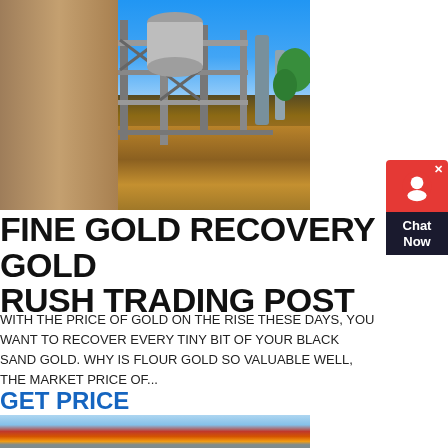[Figure (photo): Outdoor photo of a gold mining processing plant with steel framework and machinery, stone wall on left, red/brown earth and rubble in foreground, blue sky background with trees.]
FINE GOLD RECOVERY GOLD RUSH TRADING POST
WITH THE PRICE OF GOLD ON THE RISE THESE DAYS, YOU WANT TO RECOVER EVERY TINY BIT OF YOUR BLACK SAND GOLD. WHY IS FLOUR GOLD SO VALUABLE WELL, THE MARKET PRICE OF...
GET PRICE
[Figure (photo): Partial photo of a building or structure with blue sky and orange/red elements visible at the bottom of the page.]